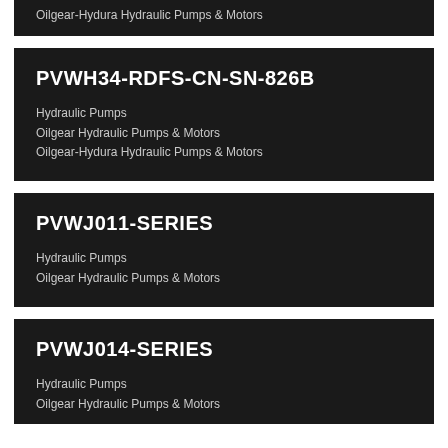Oilgear-Hydura Hydraulic Pumps & Motors
PVWH34-RDFS-CN-SN-826B
Hydraulic Pumps
Oilgear Hydraulic Pumps & Motors
Oilgear-Hydura Hydraulic Pumps & Motors
PVWJ011-SERIES
Hydraulic Pumps
Oilgear Hydraulic Pumps & Motors
PVWJ014-SERIES
Hydraulic Pumps
Oilgear Hydraulic Pumps & Motors